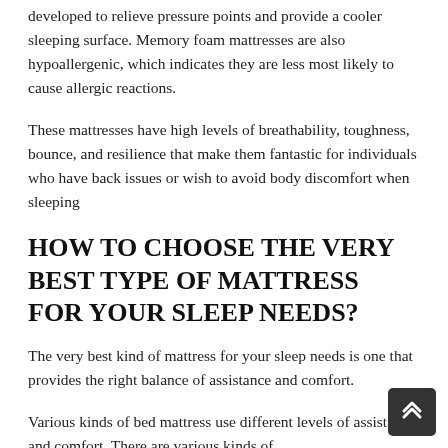developed to relieve pressure points and provide a cooler sleeping surface. Memory foam mattresses are also hypoallergenic, which indicates they are less most likely to cause allergic reactions.
These mattresses have high levels of breathability, toughness, bounce, and resilience that make them fantastic for individuals who have back issues or wish to avoid body discomfort when sleeping
HOW TO CHOOSE THE VERY BEST TYPE OF MATTRESS FOR YOUR SLEEP NEEDS?
The very best kind of mattress for your sleep needs is one that provides the right balance of assistance and comfort.
Various kinds of bed mattress use different levels of assistance and comfort. There are various kinds of